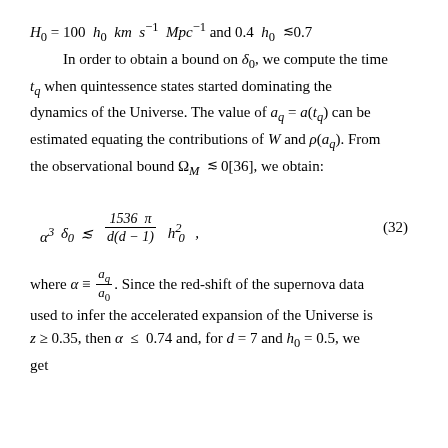H_0 = 100 h_0 km s^{-1} Mpc^{-1} and 0.4 ≲ h_0 ≲ 0.7. In order to obtain a bound on δ_0, we compute the time t_q when quintessence states started dominating the dynamics of the Universe. The value of a_q = a(t_q) can be estimated equating the contributions of W and ρ(a_q). From the observational bound Ω_M ≲ 0[36], we obtain:
where α ≡ a_q/a_0. Since the red-shift of the supernova data used to infer the accelerated expansion of the Universe is z ≥ 0.35, then α ≤ 0.74 and, for d = 7 and h_0 = 0.5, we get